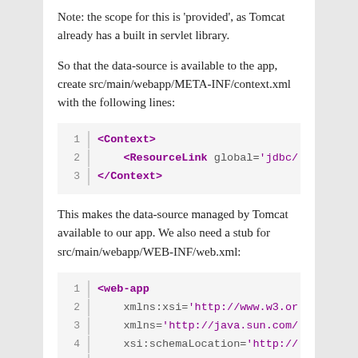Note: the scope for this is 'provided', as Tomcat already has a built in servlet library.
So that the data-source is available to the app, create src/main/webapp/META-INF/context.xml with the following lines:
[Figure (screenshot): Code block showing XML: line 1: <Context>, line 2: <ResourceLink global='jdbc/', line 3: </Context>]
This makes the data-source managed by Tomcat available to our app. We also need a stub for src/main/webapp/WEB-INF/web.xml:
[Figure (screenshot): Code block showing XML: line 1: <web-app, line 2: xmlns:xsi='http://www.w3.or, line 3: xmlns='http://java.sun.com/, line 4: xsi:schemaLocation='http://, line 5: version='2.5'>, line 6: </web-app>]